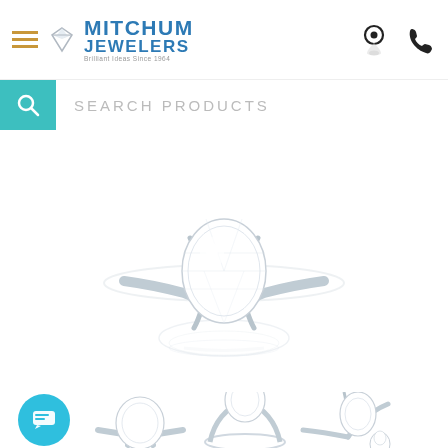Mitchum Jewelers — Brilliant Ideas Since 1964
SEARCH PRODUCTS
[Figure (photo): Large solitaire diamond engagement ring with oval-cut diamond on a thin silver band, photographed on white background with reflection below]
[Figure (photo): Three thumbnail views of diamond engagement rings: side view with cluster stone, front view round solitaire, side profile solitaire, and small inset ring]